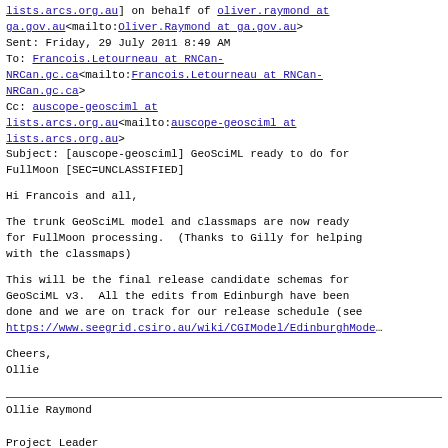lists.arcs.org.au] on behalf of oliver.raymond at ga.gov.au<mailto:Oliver.Raymond at ga.gov.au>
Sent: Friday, 29 July 2011 8:49 AM
To: Francois.Letourneau at RNCan-NRCan.gc.ca<mailto:Francois.Letourneau at RNCan-NRCan.gc.ca>
Cc: auscope-geosciml at lists.arcs.org.au<mailto:auscope-geosciml at lists.arcs.org.au>
Subject: [auscope-geosciml] GeoSciML ready to do for FullMoon [SEC=UNCLASSIFIED]
Hi Francois and all,
The trunk GeoSciML model and classmaps are now ready for FullMoon processing.  (Thanks to Gilly for helping with the classmaps)
This will be the final release candidate schemas for GeoSciML v3.  All the edits from Edinburgh have been done and we are on track for our release schedule (see https://www.seegrid.csiro.au/wiki/CGIModel/EdinburghMode...
Cheers,
Ollie
Ollie Raymond

Project Leader